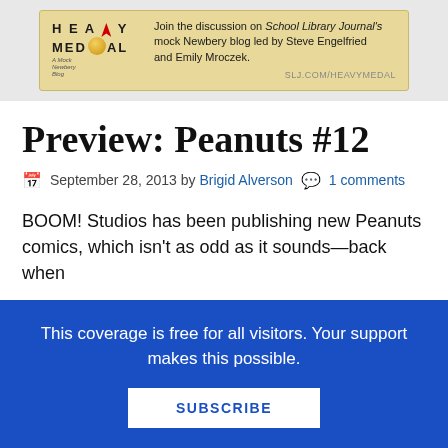[Figure (infographic): Heavy Medal blog advertisement banner. Logo shows 'HEAVY MEDAL' text with a gold medal icon and subtitle 'A Mock Newbery Blog'. Text reads: Join the discussion on School Library Journal's mock Newbery blog led by Steve Engelfried and Emily Mroczek. URL: SLJ.COM/HEAVYMEDAL]
Preview: Peanuts #12
September 28, 2013 by Brigid Alverson   1 comments
BOOM! Studios has been publishing new Peanuts comics, which isn't as odd as it sounds—back when
This coverage is free for all visitors. Your support makes this possible.
SUBSCRIBE